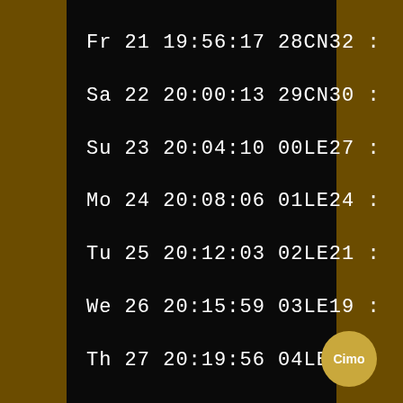Fr 21 19:56:17 28CN32
Sa 22 20:00:13 29CN30
Su 23 20:04:10 00LE27
Mo 24 20:08:06 01LE24
Tu 25 20:12:03 02LE21
We 26 20:15:59 03LE19
Th 27 20:19:56 04LE16